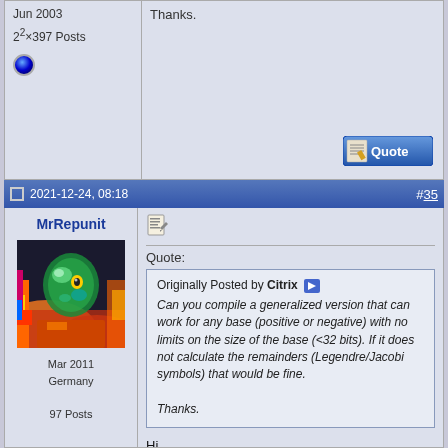Jun 2003
2²×397 Posts
Thanks.
2021-12-24, 08:18  #35
MrRepunit
[Figure (photo): User avatar for MrRepunit - colorful abstract digital art with lizard-like creature]
Mar 2011
Germany
97 Posts
Quote:
Originally Posted by Citrix
Can you compile a generalized version that can work for any base (positive or negative) with no limits on the size of the base (<32 bits). If it does not calculate the remainders (Legendre/Jacobi symbols) that would be fine.

Thanks.
Hi,
there is no quick way in doing so since the fast GPU assembler routines are only using 32 bit integer multiplication. To extend this to 64 bit exponents one would have to rewrite all the routines which are